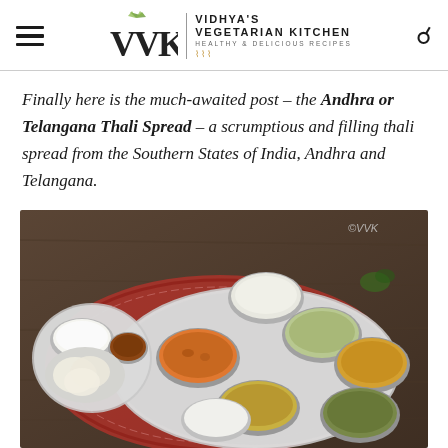VVK | VIDHYA'S VEGETARIAN KITCHEN HEALTHY & DELICIOUS RECIPES
Finally here is the much-awaited post – the Andhra or Telangana Thali Spread – a scrumptious and filling thali spread from the Southern States of India, Andhra and Telangana.
[Figure (photo): A traditional Andhra/Telangana thali spread on a large steel plate with multiple steel bowls containing various dishes including curry, dal, rice, raita, chutney, papad and more, placed on a colorful cloth on a wooden surface. Watermark ©VVK in top right corner.]